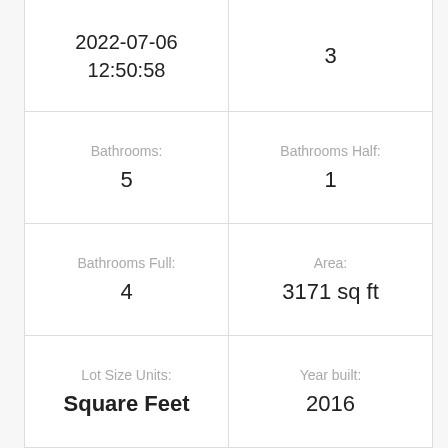| Field | Value |
| --- | --- |
| 2022-07-06 12:50:58 | 3 |
| Bathrooms: | Bathrooms Half: |
| 5 | 1 |
| Bathrooms Full: | Area: |
| 4 | 3171 sq ft |
| Lot Size Units: | Year built: |
| Square Feet | 2016 |